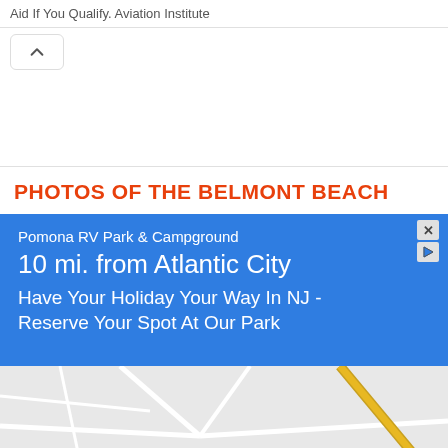Aid If You Qualify. Aviation Institute
[Figure (screenshot): Collapse/up-arrow button UI element]
PHOTOS OF THE BELMONT BEACH
[Figure (screenshot): Advertisement banner: Pomona RV Park & Campground, 10 mi. from Atlantic City, Have Your Holiday Your Way In NJ - Reserve Your Spot At Our Park]
[Figure (map): Bottom portion of a map showing road intersections with a yellow/gold road visible]